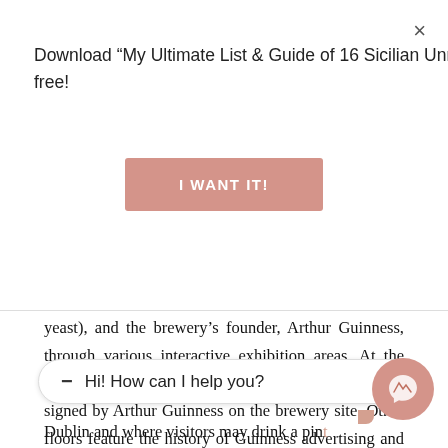Download “My Ultimate List & Guide of 16 Sicilian Unmissable Foods” for free!
I WANT IT!
yeast), and the brewery’s founder, Arthur Guinness, through various interactive exhibition areas. At the base of the atrium lies a copy of the 9,000-year lease signed by Arthur Guinness on the brewery site. Other floors feature the history of Guinness advertising and include an interactive exhibit on responsible drinking. The seventh-
Hi! How can I help you?
Dublin and where visitors may drink a pint of Guinness included in the price of admission.